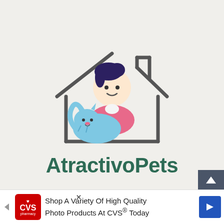[Figure (logo): AtractivoPets logo: a house outline with chimney in dark gray, containing a cartoon man with dark hair holding a blue cat. Below the house illustration is the bold dark green text 'AtractivoPets'.]
Shop A Variety Of High Quality Photo Products At CVS® Today